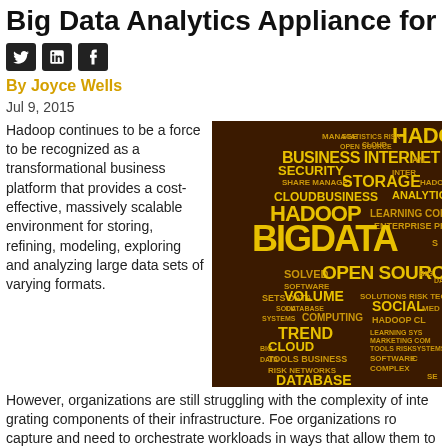Big Data Analytics Appliance for
[Figure (other): Social media share buttons: Twitter, LinkedIn, Facebook]
By Joyce Wells
Jul 9, 2015
[Figure (illustration): Word cloud on dark brown background featuring Hadoop, Big Data, Open Source, Business, Internet, Storage, Analytics, Cloud, Social, Trend, Database, Volume, Computing and other big data related terms in yellow and gold text.]
Hadoop continues to be a force to be recognized as a transformational business platform that provides a cost-effective, massively scalable environment for storing, refining, modeling, exploring and analyzing large data sets of varying formats.
However, organizations are still struggling with the complexity of integrating components of their infrastructure. Foe organizations ro capture and need to orchestrate workloads in ways that allow them to benefit from capabilities and economics for the job.
Responding to the growing need to deliver more data to the right people, Cloudera and Teradata have announced the Teradata Appliance for enterprise-ready Hadoop distribution.